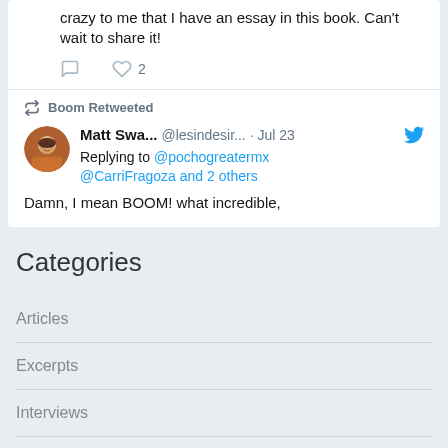crazy to me that I have an essay in this book. Can't wait to share it!
[Figure (screenshot): Tweet interaction icons: comment bubble and heart with count 2]
Boom Retweeted
[Figure (photo): Avatar of Matt Swa...]
Matt Swa... @lesindesir... · Jul 23
Replying to @pochogreatermx @CarriFragoza and 2 others
Damn, I mean BOOM! what incredible,
Categories
Articles
Excerpts
Interviews
Photography/Art